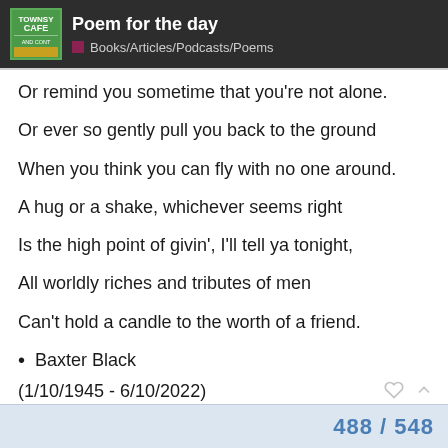Poem for the day — Books/Articles/Podcasts/Poems
Or remind you sometime that you're not alone.
Or ever so gently pull you back to the ground
When you think you can fly with no one around.
A hug or a shake, whichever seems right
Is the high point of givin', I'll tell ya tonight,
All worldly riches and tributes of men
Can't hold a candle to the worth of a friend.
Baxter Black
(1/10/1945 - 6/10/2022)
488 / 548